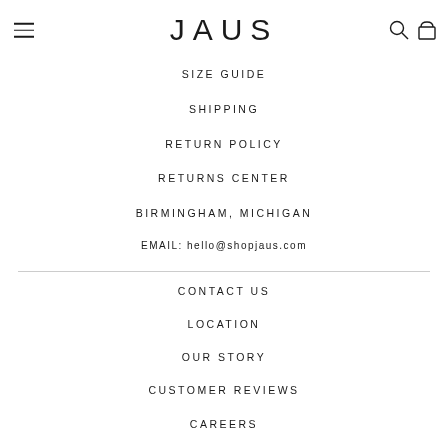JAUS
SIZE GUIDE
SHIPPING
RETURN POLICY
RETURNS CENTER
BIRMINGHAM, MICHIGAN
EMAIL: hello@shopjaus.com
CONTACT US
LOCATION
OUR STORY
CUSTOMER REVIEWS
CAREERS